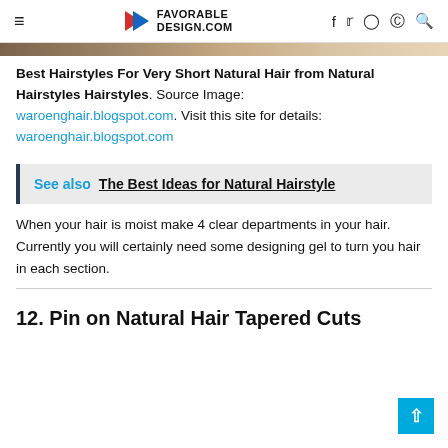FAVORABLE DESIGN.COM
[Figure (photo): Partial image strip showing hair/brown tones at top of page]
Best Hairstyles For Very Short Natural Hair from Natural Hairstyles Hairstyles. Source Image: waroenghair.blogspot.com. Visit this site for details: waroenghair.blogspot.com
See also  The Best Ideas for Natural Hairstyle
When your hair is moist make 4 clear departments in your hair. Currently you will certainly need some designing gel to turn you hair in each section.
12. Pin on Natural Hair Tapered Cuts